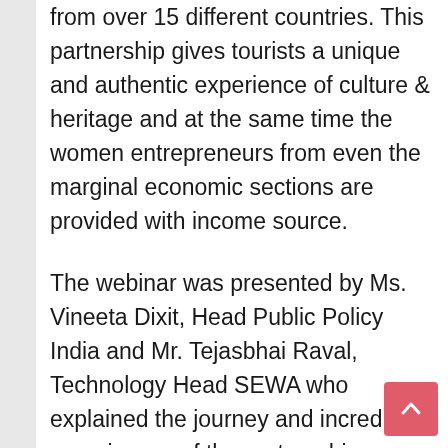from over 15 different countries. This partnership gives tourists a unique and authentic experience of culture & heritage and at the same time the women entrepreneurs from even the marginal economic sections are provided with income source.
The webinar was presented by Ms. Vineeta Dixit, Head Public Policy India and Mr. Tejasbhai Raval, Technology Head SEWA who explained the journey and incredible experiences of the partnership between SEWA & Airbnb and how it has benefited both the partners. Two of the most successful and oldest members of SEWA who run homestays, Gauriben and Meetaben spoke about their experiences for hosting guests in their